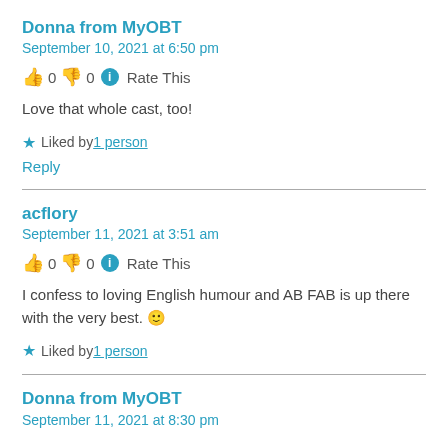Donna from MyOBT
September 10, 2021 at 6:50 pm
👍 0 👎 0 ℹ Rate This
Love that whole cast, too!
★ Liked by 1 person
Reply
acflory
September 11, 2021 at 3:51 am
👍 0 👎 0 ℹ Rate This
I confess to loving English humour and AB FAB is up there with the very best. 🙂
★ Liked by 1 person
Donna from MyOBT
September 11, 2021 at 8:30 pm